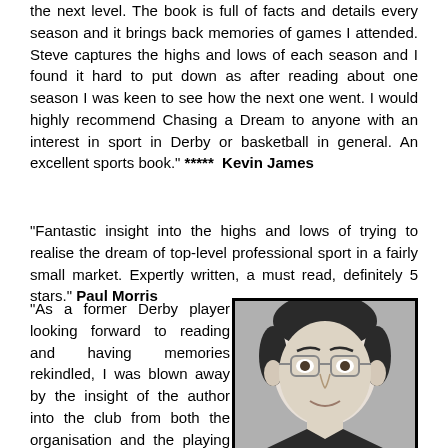the next level. The book is full of facts and details every season and it brings back memories of games I attended. Steve captures the highs and lows of each season and I found it hard to put down as after reading about one season I was keen to see how the next one went. I would highly recommend Chasing a Dream to anyone with an interest in sport in Derby or basketball in general. An excellent sports book." ***** Kevin James
"Fantastic insight into the highs and lows of trying to realise the dream of top-level professional sport in a fairly small market. Expertly written, a must read, definitely 5 stars." Paul Morris
"As a former Derby player looking forward to reading and having memories rekindled, I was blown away by the insight of the author into the club from both the organisation and the playing side of
[Figure (photo): Black and white portrait photograph of a man with glasses, dark curly hair, smiling slightly]